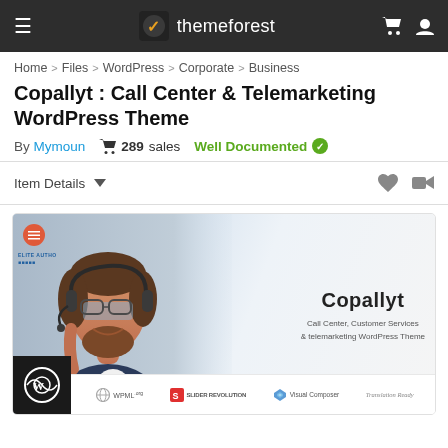themeforest
Home > Files > WordPress > Corporate > Business
Copallyt : Call Center & Telemarketing WordPress Theme
By Mymoun  289 sales  Well Documented
Item Details
[Figure (screenshot): Screenshot of Copallyt WordPress theme preview showing a smiling man with headset, the Copallyt logo, subtitle 'Call Center, Customer Services & telemarketing WordPress Theme', and plugin badges: WPML, Slider Revolution, Visual Composer, Translation Ready]